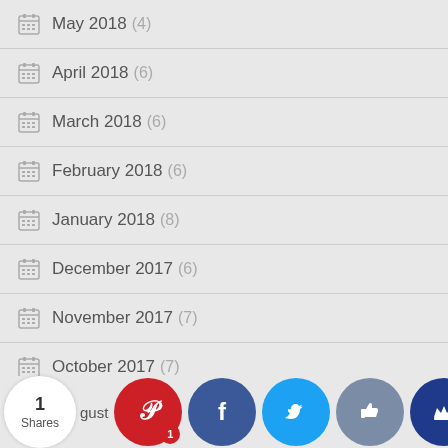May 2018 (4)
April 2018 (6)
March 2018 (6)
February 2018 (6)
January 2018 (8)
December 2017 (6)
November 2017 (7)
October 2017 (7)
September 2017 (7)